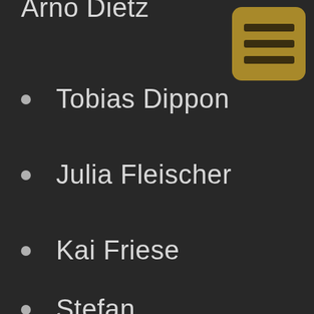Arno Dietz
Tobias Dippon
Julia Fleischer
Kai Friese
Stefan
Guenther / Gautier Jehl